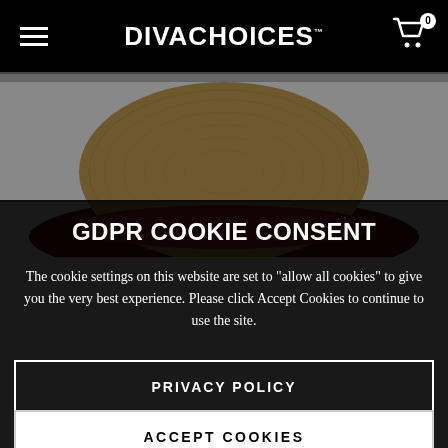DIVACHOICES
[Figure (photo): A straw/wicker hat with a red band, viewed from above, against a white background. The hat is partially obscured by the dark overlay of the cookie consent dialog.]
GDPR COOKIE CONSENT
The cookie settings on this website are set to "allow all cookies" to give you the very best experience. Please click Accept Cookies to continue to use the site.
PRIVACY POLICY
ACCEPT COOKIES